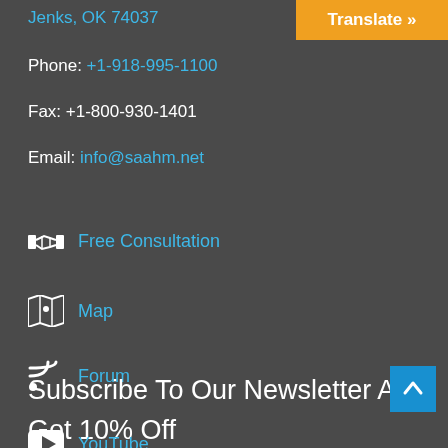Jenks, OK 74037
Phone: +1-918-995-1100
Fax: +1-800-930-1401
Email: info@saahm.net
Translate »
Free Consultation
Map
Forum
YouTube
Subscribe To Our Newsletter An
Got 10% Off